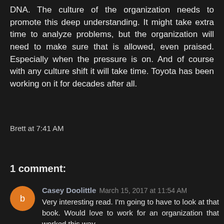DNA. The culture of the organization needs to promote this deep understanding. It might take extra time to analyze problems, but the organization will need to make sure that is allowed, even praised. Especially when the pressure is on. And of course with any culture shift it will take time. Toyota has been working on it for decades after all.
Brett at 7:41 AM
Share
1 comment:
Casey Doolittle March 15, 2017 at 11:54 AM
Very interesting read. I'm going to have to look at that book. Would love to work for an organization that worked this way.
Reply